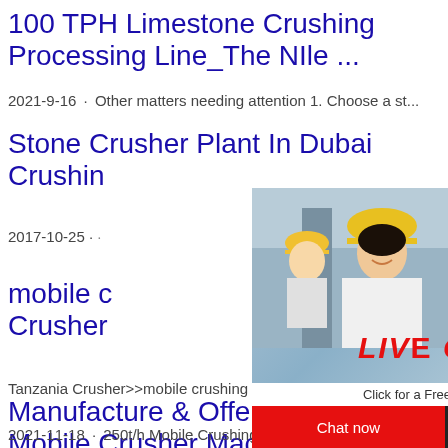100 TPH Limestone Crushing Processing Line_The NIle ...
2021-9-16 · Other matters needing attention 1. Choose a st...
Stone Crusher Plant In Dubai Crushin
2017-10-25 · ...
[Figure (screenshot): Live chat popup overlay showing workers in hard hats, LIVE CHAT text in red, 'Click for a Free Consultation', Chat now and Chat later buttons, and a right sidebar with machinery image, 'Click me to chat>>', Enquiry button, and limingjlmofen text]
mobile c... Crusher
Tanzania Crusher>>mobile crushing plant T...
Manufacture & Offer 50... Mobile Crusher Machin...
2021-11-18 · 250t/h Mobile Crushing Line...